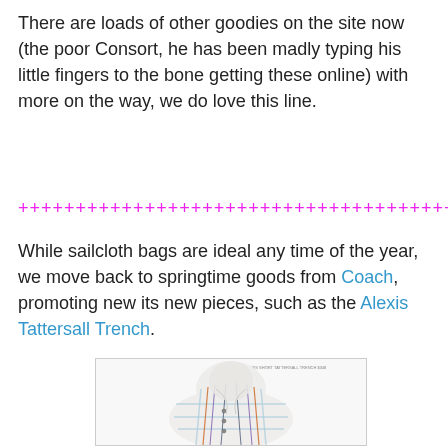There are loads of other goodies on the site now (the poor Consort, he has been madly typing his little fingers to the bone getting these online) with more on the way, we do love this line.
+++++++++++++++++++++++++++++++++++++++++++
While sailcloth bags are ideal any time of the year, we move back to springtime goods from Coach, promoting new its new pieces, such as the Alexis Tattersall Trench.
[Figure (photo): Photo of the Alexis Short Tattersall Trench coat, a white plaid trench coat with colorful stripes (blue, orange, purple), double-breasted buttons, displayed on a hanger/mannequin.]